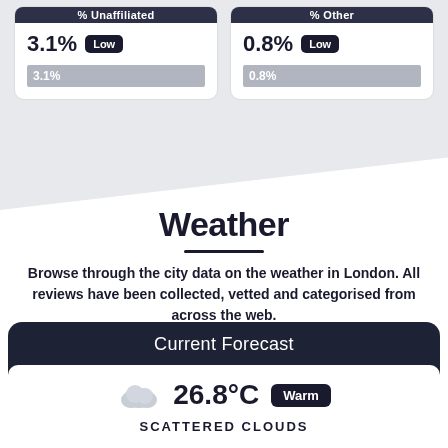% Unaffiliated
% Other
3.1% Low
0.8% Low
[Figure (infographic): Two horizontal bar indicators: 3.1% bar and 0.8% bar on grey background]
Weather
Browse through the city data on the weather in London. All reviews have been collected, vetted and categorised from across the web.
Current Forecast
26.8°C Warm
SCATTERED CLOUDS